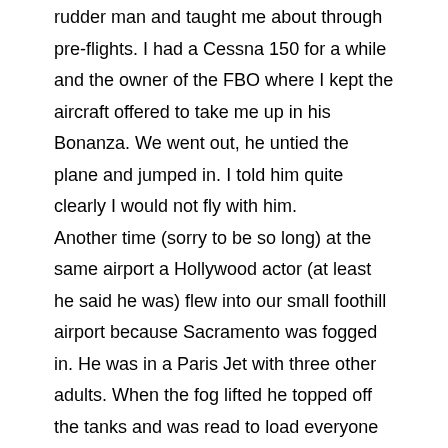rudder man and taught me about through pre-flights. I had a Cessna 150 for a while and the owner of the FBO where I kept the aircraft offered to take me up in his Bonanza. We went out, he untied the plane and jumped in. I told him quite clearly I would not fly with him. Another time (sorry to be so long) at the same airport a Hollywood actor (at least he said he was) flew into our small foothill airport because Sacramento was fogged in. He was in a Paris Jet with three other adults. When the fog lifted he topped off the tanks and was read to load everyone in. In the flight lounge we calculated the BFL for that aircraft with that load to be 4,000 ft. The runway was 4,000 ft. uphill